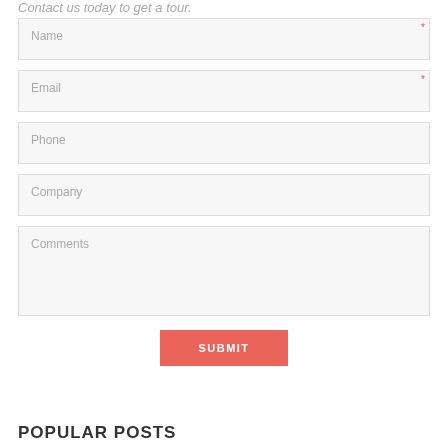Contact us today to get a tour.
Name
Email
Phone
Company
Comments
SUBMIT
POPULAR POSTS